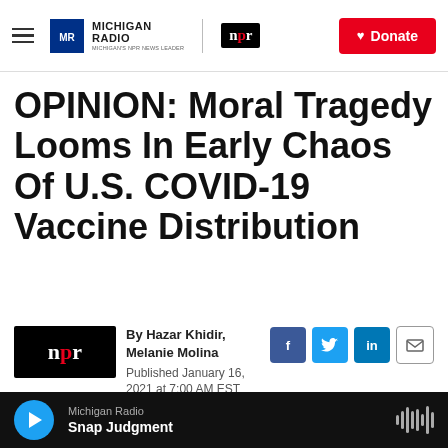Michigan Radio | NPR | Donate
OPINION: Moral Tragedy Looms In Early Chaos Of U.S. COVID-19 Vaccine Distribution
[Figure (logo): NPR logo (red on black background)]
By Hazar Khidir, Melanie Molina
Published January 16, 2021 at 7:00 AM EST
Michigan Radio | Snap Judgment